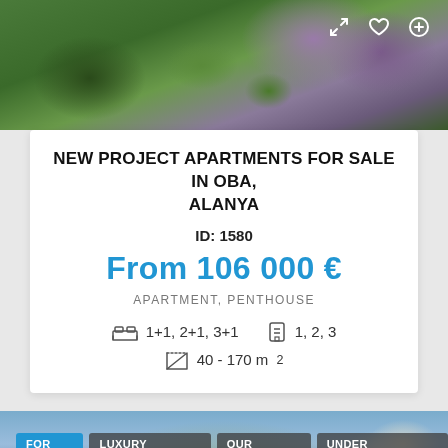[Figure (photo): Aerial/overhead view of a property with greenery and purple flowering trees]
NEW PROJECT APARTMENTS FOR SALE IN OBA, ALANYA
ID: 1580
From 106 000 €
APARTMENT, PENTHOUSE
1+1, 2+1, 3+1   1, 2, 3
40 - 170 m²
[Figure (photo): Mountain landscape with rocky cliffs and a tall building on the right, with filter tags: FOR SALE, LUXURY PROPERTIES, OUR PROJECTS, UNDER CONSTRUCTION]